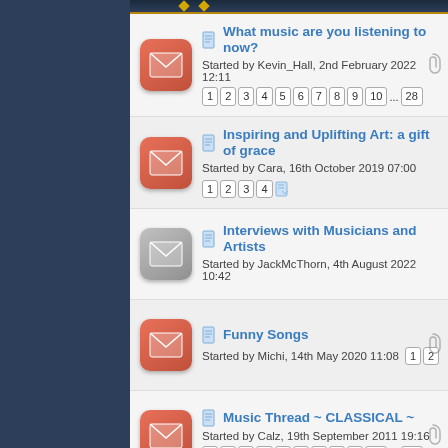What music are you listening to now? Started by Kevin_Hall, 2nd February 2022 12:11 | pages: 1 2 3 4 5 6 7 8 9 10 ... 28
Inspiring and Uplifting Art: a gift of grace Started by Cara, 16th October 2019 07:00 | pages: 1 2 3 4
Interviews with Musicians and Artists Started by JackMcThorn, 4th August 2022 10:42
Funny Songs Started by Michi, 14th May 2020 11:08 | pages: 1 2
Music Thread ~ CLASSICAL ~ Started by Calz, 19th September 2011 19:16 | pages: 1 2 3 4 5 6 7 8 9 10 ... 21
Anti-NATO Metal Started by shaberon, 16th April 2022 08:50